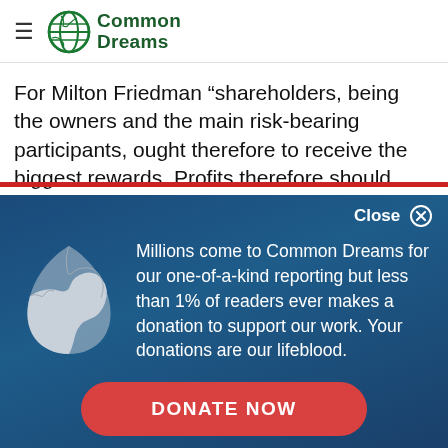Common Dreams
For Milton Friedman “shareholders, being the owners and the main risk-bearing participants, ought therefore to receive the biggest rewards. Profits therefore should
Close
Millions come to Common Dreams for our one-of-a-kind reporting but less than 1% of readers ever makes a donation to support our work. Your donations are our lifeblood.
DONATE NOW